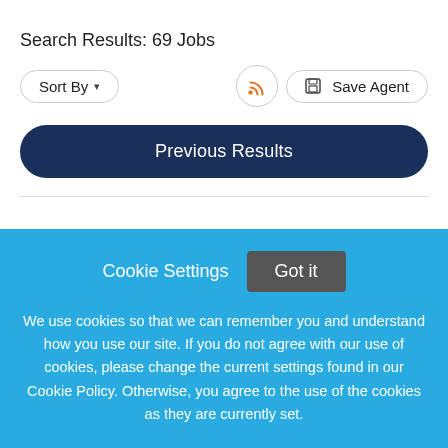Search Results: 69 Jobs
Sort By ▾
[Figure (screenshot): RSS feed icon button (orange wifi-like symbol) and Save Agent button]
Previous Results
[Figure (logo): Tufts Medicine logo in blue text]
Cookie Settings
Got it
We use cookies so that we can remember you and understand how you use our site. If you do not agree with our use of cookies, please change the current settings found in our Cookie Policy. Otherwise, you agree to the use of the cookies as they are currently set.